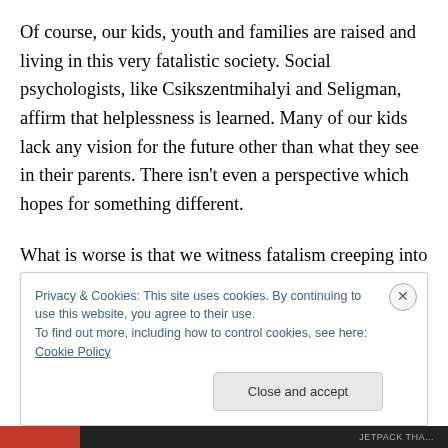Of course, our kids, youth and families are raised and living in this very fatalistic society. Social psychologists, like Csikszentmihalyi and Seligman, affirm that helplessness is learned. Many of our kids lack any vision for the future other than what they see in their parents. There isn't even a perspective which hopes for something different.
What is worse is that we witness fatalism creeping into the church. There I see mixed messages. Some overstress God's determinism to such an extent that they make God
Privacy & Cookies: This site uses cookies. By continuing to use this website, you agree to their use.
To find out more, including how to control cookies, see here: Cookie Policy